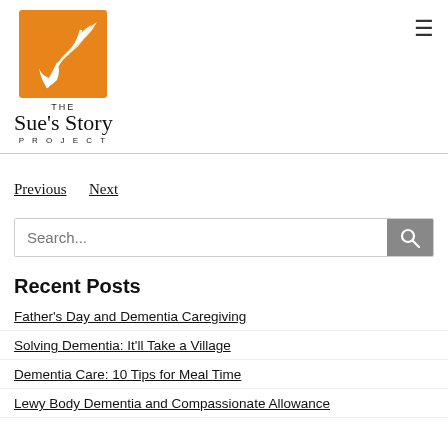[Figure (logo): The Sue's Story Project logo: orange square with white bird-of-paradise flower and hand silhouette, with text 'THE Sue's Story PROJECT' below]
Previous   Next
Search...
Recent Posts
Father's Day and Dementia Caregiving
Solving Dementia: It'll Take a Village
Dementia Care: 10 Tips for Meal Time
Lewy Body Dementia and Compassionate Allowance